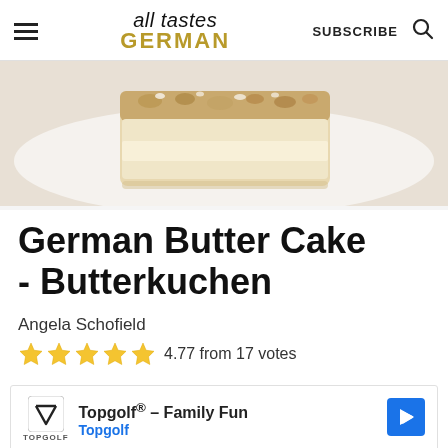all tastes GERMAN | SUBSCRIBE
[Figure (photo): Close-up photo of a slice of German Butter Cake (Butterkuchen) with powdered sugar and nuts on top, on a white plate]
German Butter Cake - Butterkuchen
Angela Schofield
4.77 from 17 votes
[Figure (infographic): Advertisement for Topgolf - Family Fun by Topgolf with navigation arrow icon and play/close controls]